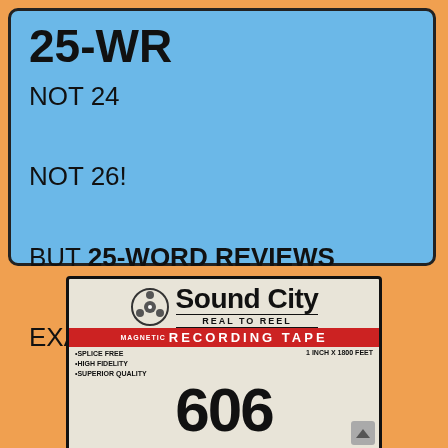25-WR
NOT 24

NOT 26!

BUT 25-WORD REVIEWS

EXACTLY...
[Figure (photo): Sound City Real to Reel Magnetic Recording Tape box label, model 606, 1 inch x 1800 feet, splice free, high fidelity, superior quality]